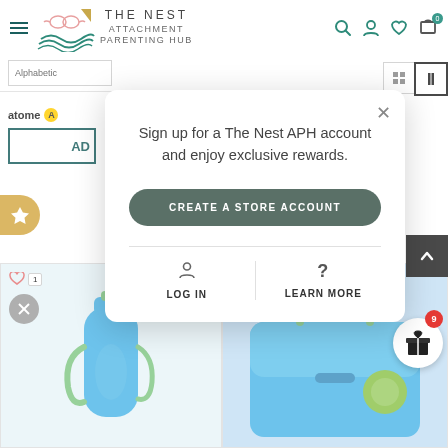[Figure (screenshot): Website header for The Nest Attachment Parenting Hub with hamburger menu, logo with bird/water illustration, search icon, account icon, heart/wishlist icon, and cart icon with 0 badge]
[Figure (screenshot): Toolbar row with Alphabetic sort dropdown and view toggle icons]
atome A
AD
[Figure (screenshot): Modal popup dialog: Sign up for a The Nest APH account and enjoy exclusive rewards. Button: CREATE A STORE ACCOUNT. Links: LOG IN and LEARN MORE with icons. Close X button.]
[Figure (screenshot): Product grid showing blue dinosaur water bottle and blue/green lunch box below the modal]
[Figure (screenshot): Rewards gift box circle button with red badge showing 9]